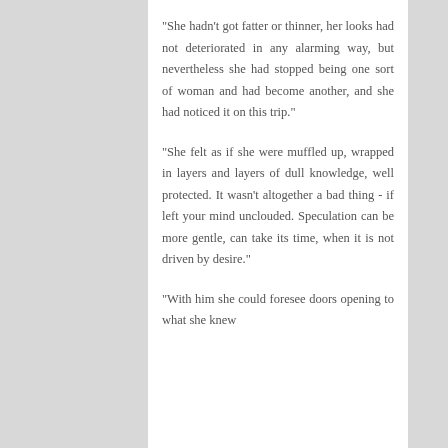"She hadn't got fatter or thinner, her looks had not deteriorated in any alarming way, but nevertheless she had stopped being one sort of woman and had become another, and she had noticed it on this trip."
"She felt as if she were muffled up, wrapped in layers and layers of dull knowledge, well protected. It wasn't altogether a bad thing - if left your mind unclouded. Speculation can be more gentle, can take its time, when it is not driven by desire."
"With him she could foresee doors opening to what she knew